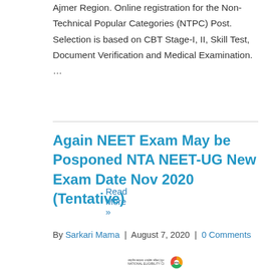Ajmer Region. Online registration for the Non-Technical Popular Categories (NTPC) Post. Selection is based on CBT Stage-I, II, Skill Test, Document Verification and Medical Examination. …
Read More »
Again NEET Exam May be Posponed NTA NEET-UG New Exam Date Nov 2020 (Tentative)
By Sarkari Mama | August 7, 2020 | 0 Comments
[Figure (logo): NEET NTA logo with circular emblem at bottom of page]